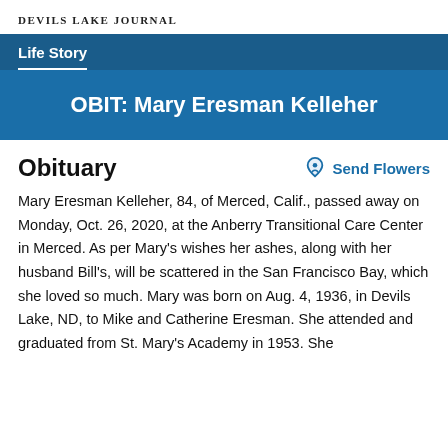DEVILS LAKE JOURNAL
Life Story
OBIT: Mary Eresman Kelleher
Obituary
Mary Eresman Kelleher, 84, of Merced, Calif., passed away on Monday, Oct. 26, 2020, at the Anberry Transitional Care Center in Merced. As per Mary's wishes her ashes, along with her husband Bill's, will be scattered in the San Francisco Bay, which she loved so much. Mary was born on Aug. 4, 1936, in Devils Lake, ND, to Mike and Catherine Eresman. She attended and graduated from St. Mary's Academy in 1953. She